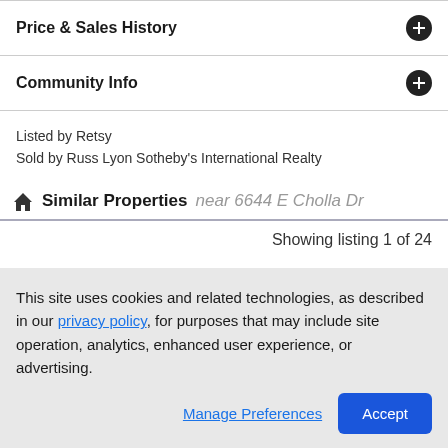Price & Sales History
Community Info
Listed by Retsy
Sold by Russ Lyon Sotheby's International Realty
Similar Properties near 6644 E Cholla Dr
Showing listing 1 of 24
This site uses cookies and related technologies, as described in our privacy policy, for purposes that may include site operation, analytics, enhanced user experience, or advertising.
Manage Preferences  Accept